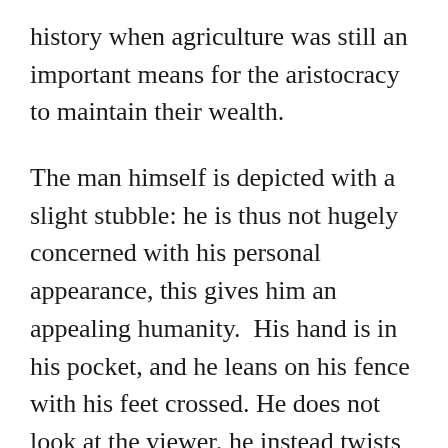history when agriculture was still an important means for the aristocracy to maintain their wealth.
The man himself is depicted with a slight stubble: he is thus not hugely concerned with his personal appearance, this gives him an appealing humanity.  His hand is in his pocket, and he leans on his fence with his feet crossed. He does not look at the viewer, he instead twists his body and looks off the right of the painting. This use of contrapposto suggests education, and a knowledge of the classical Greek and Roman arts which were so influential at the